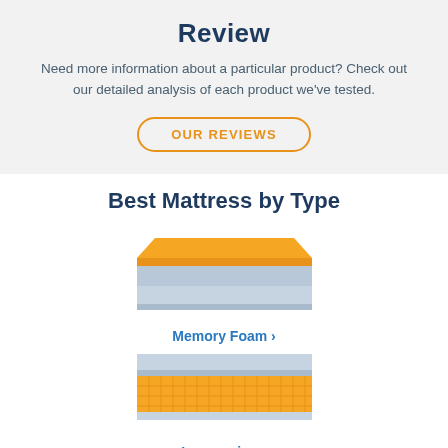Review
Need more information about a particular product? Check out our detailed analysis of each product we've tested.
OUR REVIEWS
Best Mattress by Type
[Figure (illustration): Memory foam mattress illustration with orange top layer and blue/grey base layers]
Memory Foam >
[Figure (illustration): Innerspring mattress illustration with grey top layer and orange coil/spring layer]
Innerspring >
[Figure (illustration): Partial mattress illustration on bottom left with grey top and orange coil layer]
[Figure (illustration): Partial mattress illustration on bottom right with orange top layers and white coil layer]